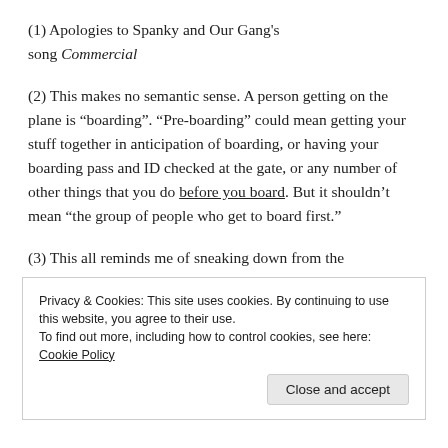(1) Apologies to Spanky and Our Gang's song Commercial
(2) This makes no semantic sense. A person getting on the plane is “boarding”. “Pre-boarding” could mean getting your stuff together in anticipation of boarding, or having your boarding pass and ID checked at the gate, or any number of other things that you do before you board. But it shouldn’t mean “the group of people who get to board first.”
(3) This all reminds me of sneaking down from the
Privacy & Cookies: This site uses cookies. By continuing to use this website, you agree to their use.
To find out more, including how to control cookies, see here: Cookie Policy
Close and accept